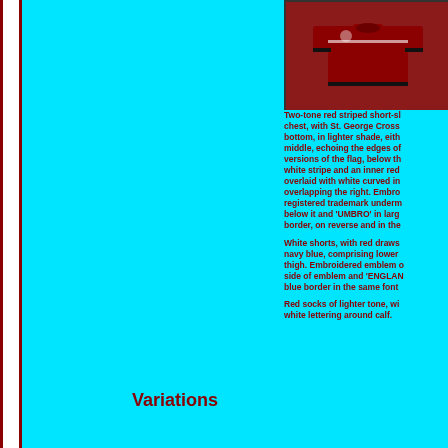[Figure (photo): Red/maroon England football jersey, short-sleeved, displayed from the back/front view against a light background]
Two-tone red striped short-sleeved jersey with striped chest, with St. George Cross on bottom, in lighter shade, either middle, echoing the edges of versions of the flag, below the white stripe and an inner red overlaid with white curved in overlapping the right. Embroidered registered trademark underneath below it and 'UMBRO' in large border, on reverse and in the
White shorts, with red drawstring navy blue, comprising lower thigh. Embroidered emblem on side of emblem and 'ENGLAND' blue border in the same font
Red socks of lighter tone, with white lettering around calf.
Variations
A long-sleeved version with stripe near the edge.
For the first two games, the number on the reverse font.